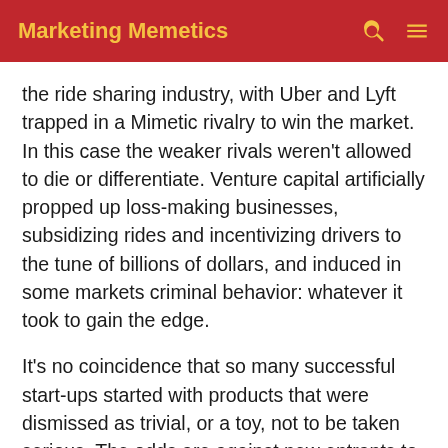Marketing Memetics
the ride sharing industry, with Uber and Lyft trapped in a Mimetic rivalry to win the market. In this case the weaker rivals weren't allowed to die or differentiate. Venture capital artificially propped up loss-making businesses, subsidizing rides and incentivizing drivers to the tune of billions of dollars, and induced in some markets criminal behavior: whatever it took to gain the edge.
It's no coincidence that so many successful start-ups started with products that were dismissed as trivial, or a toy, not to be taken serious. The odds are against new entrants to a market, so they have to occupy real estate that nobody wants, until they're strong enough to disrupt the entire category. When you do eventually attract the attention of your stronger rivals, you need to be